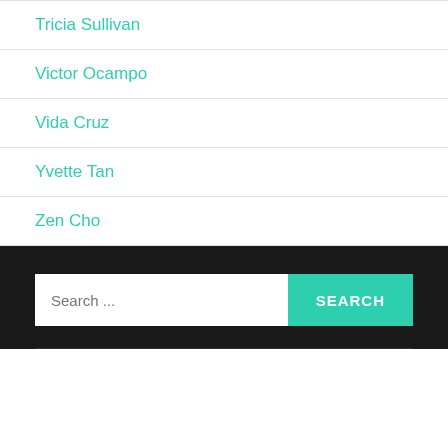Tricia Sullivan
Victor Ocampo
Vida Cruz
Yvette Tan
Zen Cho
Search ...